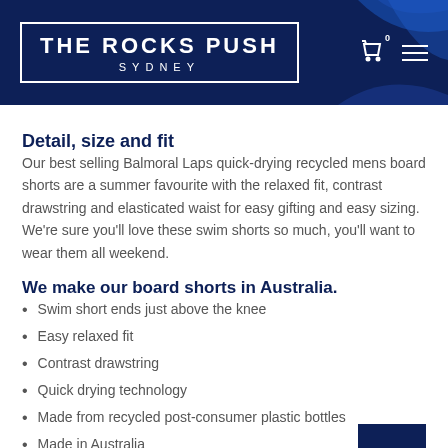THE ROCKS PUSH SYDNEY
Detail, size and fit
Our best selling Balmoral Laps quick-drying recycled mens board shorts are a summer favourite with the relaxed fit, contrast drawstring and elasticated waist for easy gifting and easy sizing.  We're sure you'll love these swim shorts so much, you'll want to wear them all weekend.
We make our board shorts in Australia.
Swim short ends just above the knee
Easy relaxed fit
Contrast drawstring
Quick drying technology
Made from recycled post-consumer plastic bottles
Made in Australia
Packed in an easy-to-gift cotton bag